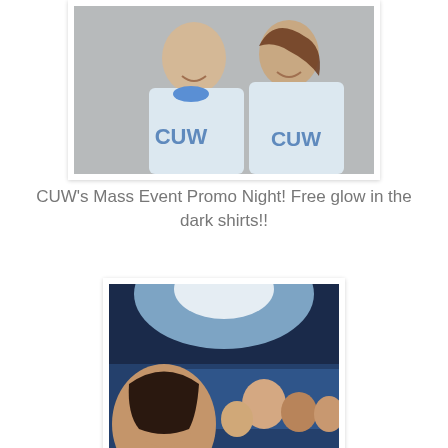[Figure (photo): Two people smiling at camera wearing light blue CUW shirts at what appears to be a sports or school event.]
CUW's Mass Event Promo Night! Free glow in the dark shirts!!
[Figure (photo): Group of people taking a selfie in a large stadium with blue lighting and a packed crowd in the background.]